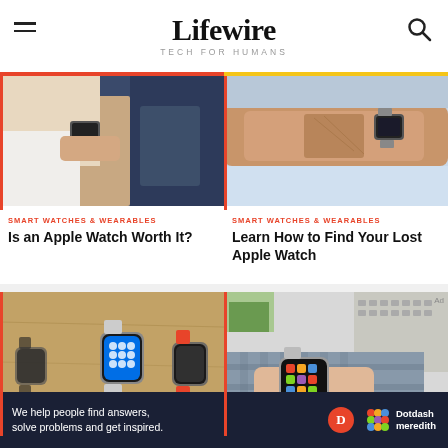Lifewire — TECH FOR HUMANS
[Figure (photo): Person wearing Apple Watch on wrist, fitness/sports context]
[Figure (photo): Person extending arm wearing Apple Watch, outdoor context]
SMART WATCHES & WEARABLES
Is an Apple Watch Worth It?
SMART WATCHES & WEARABLES
Learn How to Find Your Lost Apple Watch
[Figure (photo): Multiple Apple Watch models displayed on table with various bands]
[Figure (photo): Person wearing Apple Watch on wrist showing grid of app icons]
We help people find answers, solve problems and get inspired. Dotdash meredith